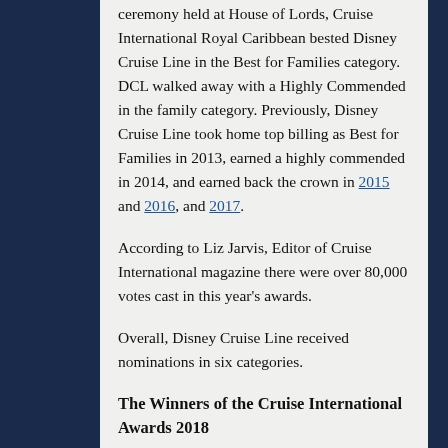ceremony held at House of Lords, Cruise International Royal Caribbean bested Disney Cruise Line in the Best for Families category. DCL walked away with a Highly Commended in the family category. Previously, Disney Cruise Line took home top billing as Best for Families in 2013, earned a highly commended in 2014, and earned back the crown in 2015 and 2016, and 2017.
According to Liz Jarvis, Editor of Cruise International magazine there were over 80,000 votes cast in this year's awards.
Overall, Disney Cruise Line received nominations in six categories.
The Winners of the Cruise International Awards 2018
BOLD Categories denote categories in